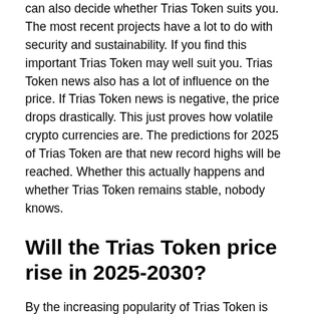can also decide whether Trias Token suits you. The most recent projects have a lot to do with security and sustainability. If you find this important Trias Token may well suit you. Trias Token news also has a lot of influence on the price. If Trias Token news is negative, the price drops drastically. This just proves how volatile crypto currencies are. The predictions for 2025 of Trias Token are that new record highs will be reached. Whether this actually happens and whether Trias Token remains stable, nobody knows.
Will the Trias Token price rise in 2025-2030?
By the increasing popularity of Trias Token is also used by more and more people. Banks are also increasingly taking cryptocurrencies into account. The predictions for Trias Token are that it can rise considerably in the future. Experts also say that Trias Token has certainly not reached